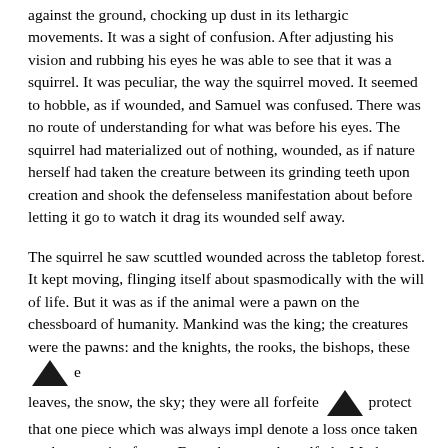against the ground, chocking up dust in its lethargic movements. It was a sight of confusion. After adjusting his vision and rubbing his eyes he was able to see that it was a squirrel. It was peculiar, the way the squirrel moved. It seemed to hobble, as if wounded, and Samuel was confused. There was no route of understanding for what was before his eyes. The squirrel had materialized out of nothing, wounded, as if nature herself had taken the creature between its grinding teeth upon creation and shook the defenseless manifestation about before letting it go to watch it drag its wounded self away.
The squirrel he saw scuttled wounded across the tabletop forest. It kept moving, flinging itself about spasmodically with the will of life. But it was as if the animal were a pawn on the chessboard of humanity. Mankind was the king; the creatures were the pawns: and the knights, the rooks, the bishops, these [arrow] e leaves, the snow, the sky; they were all forfeite [arrow] protect that one piece which was always impl denote a loss once taken out by opposing forces. Even the queen herself, the Mother—the elastic, the strong,